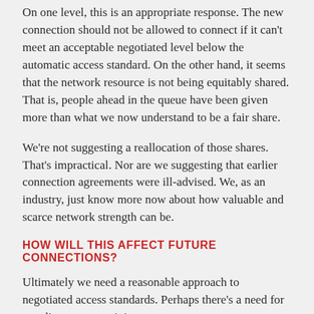On one level, this is an appropriate response. The new connection should not be allowed to connect if it can't meet an acceptable negotiated level below the automatic access standard. On the other hand, it seems that the network resource is not being equitably shared. That is, people ahead in the queue have been given more than what we now understand to be a fair share.
We're not suggesting a reallocation of those shares. That's impractical. Nor are we suggesting that earlier connection agreements were ill-advised. We, as an industry, just know more now about how valuable and scarce network strength can be.
HOW WILL THIS AFFECT FUTURE CONNECTIONS?
Ultimately we need a reasonable approach to negotiated access standards. Perhaps there's a need for an adjustment to minimum access